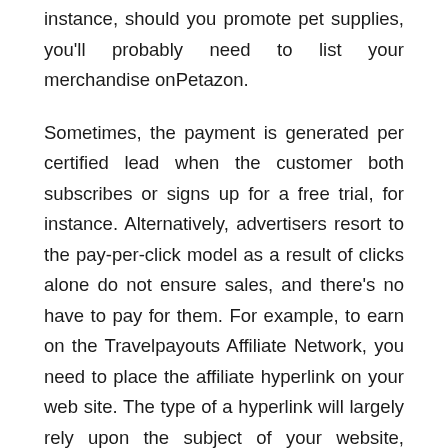instance, should you promote pet supplies, you'll probably need to list your merchandise onPetazon.
Sometimes, the payment is generated per certified lead when the customer both subscribes or signs up for a free trial, for instance. Alternatively, advertisers resort to the pay-per-click model as a result of clicks alone do not ensure sales, and there's no have to pay for them. For example, to earn on the Travelpayouts Affiliate Network, you need to place the affiliate hyperlink on your web site. The type of a hyperlink will largely rely upon the subject of your website, whether or not you need to promote a specific lodge or a for flight search outcomes page, for example.